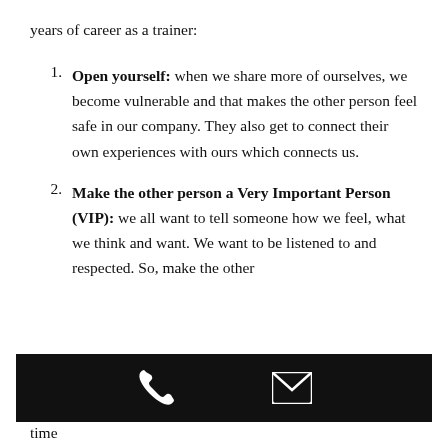years of career as a trainer:
Open yourself: when we share more of ourselves, we become vulnerable and that makes the other person feel safe in our company. They also get to connect their own experiences with ours which connects us.
Make the other person a Very Important Person (VIP): we all want to tell someone how we feel, what we think and want. We want to be listened to and respected. So, make the other
[Figure (other): Black footer bar with phone icon and email/envelope icon]
time